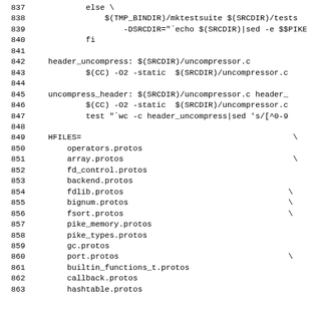837   else \
838       $(TMP_BINDIR)/mktestsuite $(SRCDIR)/tests
839           -DSRCDIR="`echo $(SRCDIR)|sed -e $$PIKE
840       fi
841
842   header_uncompress: $(SRCDIR)/uncompressor.c
843           $(CC) -O2 -static  $(SRCDIR)/uncompressor.c
844
845   uncompress_header: $(SRCDIR)/uncompressor.c header_
846           $(CC) -O2 -static  $(SRCDIR)/uncompressor.c
847           test "`wc -c header_uncompress|sed 's/[^0-9
848
849   HFILES=                                             \
850       operators.protos
851       array.protos                                    \
852       fd_control.protos
853       backend.protos
854       fdlib.protos                                   \
855       bignum.protos                                  \
856       fsort.protos                                   \
857       pike_memory.protos
858       pike_types.protos
859       gc.protos
860       port.protos                                    \
861       builtin_functions_t.protos
862       callback.protos
863       hashtable.protos